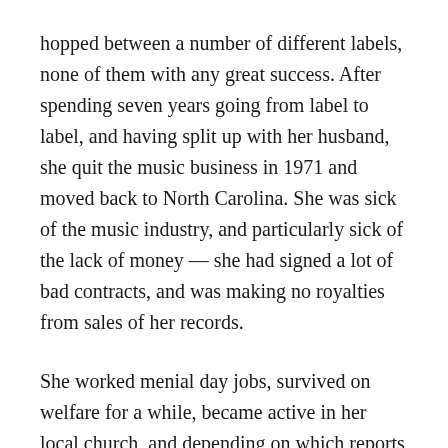hopped between a number of different labels, none of them with any great success. After spending seven years going from label to label, and having split up with her husband, she quit the music business in 1971 and moved back to North Carolina. She was sick of the music industry, and particularly sick of the lack of money — she had signed a lot of bad contracts, and was making no royalties from sales of her records.
She worked menial day jobs, survived on welfare for a while, became active in her local church, and depending on which reports you read either ran a soul-food restaurant or merely worked there as a waitress. Meanwhile, “The Loco-Motion” was a perennial hit. Her version re-charted in the UK in the early seventies,